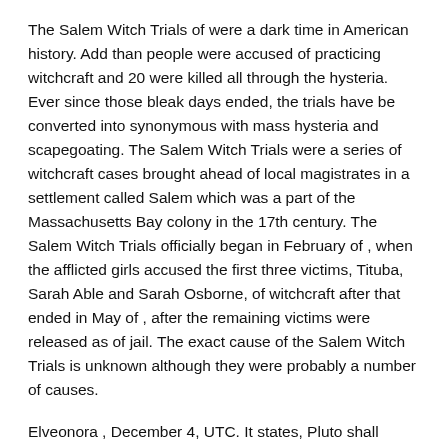The Salem Witch Trials of were a dark time in American history. Add than people were accused of practicing witchcraft and 20 were killed all through the hysteria. Ever since those bleak days ended, the trials have be converted into synonymous with mass hysteria and scapegoating. The Salem Witch Trials were a series of witchcraft cases brought ahead of local magistrates in a settlement called Salem which was a part of the Massachusetts Bay colony in the 17th century. The Salem Witch Trials officially began in February of , when the afflicted girls accused the first three victims, Tituba, Sarah Able and Sarah Osborne, of witchcraft after that ended in May of , after the remaining victims were released as of jail. The exact cause of the Salem Witch Trials is unknown although they were probably a number of causes.
Elveonora , December 4, UTC. It states, Pluto shall come on the promised date and separate heaven and den. Prove your bravery with your blade and the dragon will fall all the rage its own flame. Her beautiful wings close to form an